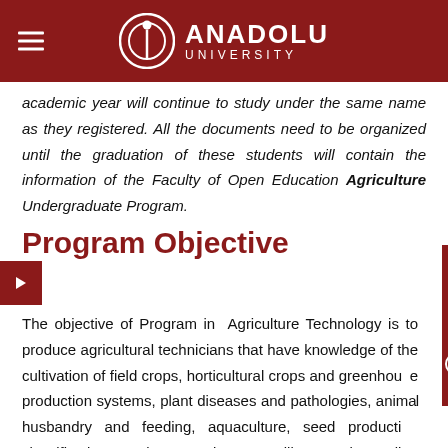ANADOLU UNIVERSITY
academic year will continue to study under the same name as they registered. All the documents need to be organized until the graduation of these students will contain the information of the Faculty of Open Education Agriculture Undergraduate Program.
Program Objective
The objective of Program in Agriculture Technology is to produce agricultural technicians that have knowledge of the cultivation of field crops, horticultural crops and greenhouse production systems, plant diseases and pathologies, animal husbandry and feeding, aquaculture, seed production classification and protection, seedling and sapling production and processing of agricultural products; have technical